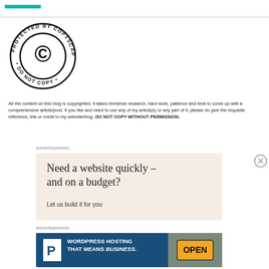[Figure (logo): Copyscape copyright protection badge — circular badge reading 'PROTECTED BY COPYSCAPE • DO NOT COPY •' with a large C copyright symbol in the center]
All the content on this blog is copyrighted. It takes immense research, hard work, patience and time to come up with a comprehensive article/post. If you like and need to use any of my article(s) or any part of it, please do give the requisite reference, link or credit to my website/blog. DO NOT COPY WITHOUT PERMISSION.
Advertisements
[Figure (screenshot): Advertisement banner with beige/tan background reading 'Need a website quickly – and on a budget?' with subtext 'Let us build it for you']
Advertisements
[Figure (screenshot): WordPress hosting advertisement banner with dark blue background, white P logo, bold white text reading 'WORDPRESS HOSTING THAT MEANS BUSINESS.' and photo of an OPEN sign on right]